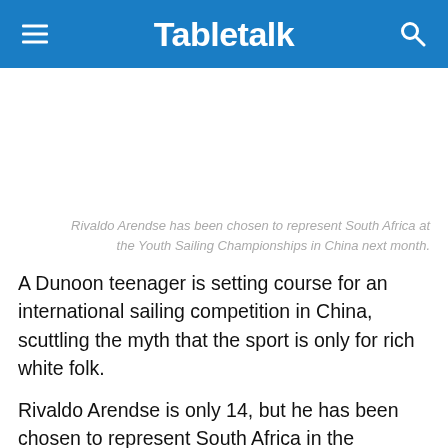Tabletalk
[Figure (photo): Image placeholder area for a photo related to Rivaldo Arendse and sailing]
Rivaldo Arendse has been chosen to represent South Africa at the Youth Sailing Championships in China next month.
A Dunoon teenager is setting course for an international sailing competition in China, scuttling the myth that the sport is only for rich white folk.
Rivaldo Arendse is only 14, but he has been chosen to represent South Africa in the prestigious Youth Sailing World Championships in Sanya, China, next month.